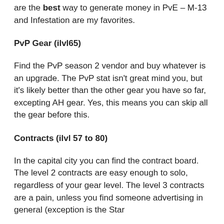are the best way to generate money in PvE – M-13 and Infestation are my favorites.
PvP Gear (ilvl65)
Find the PvP season 2 vendor and buy whatever is an upgrade.  The PvP stat isn't great mind you, but it's likely better than the other gear you have so far, excepting AH gear.  Yes, this means you can skip all the gear before this.
Contracts (ilvl 57 to 80)
In the capital city you can find the contract board.  The level 2 contracts are easy enough to solo, regardless of your gear level.  The level 3 contracts are a pain, unless you find someone advertising in general (exception is the Star